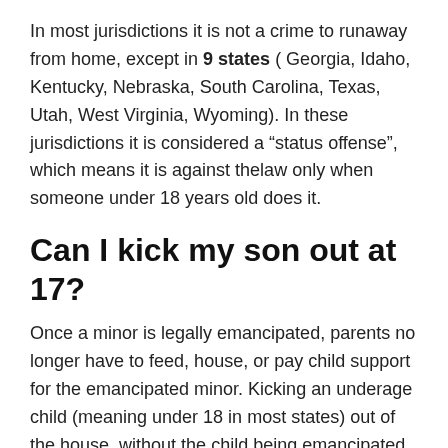In most jurisdictions it is not a crime to runaway from home, except in 9 states ( Georgia, Idaho, Kentucky, Nebraska, South Carolina, Texas, Utah, West Virginia, Wyoming). In these jurisdictions it is considered a “status offense”, which means it is against thelaw only when someone under 18 years old does it.
Can I kick my son out at 17?
Once a minor is legally emancipated, parents no longer have to feed, house, or pay child support for the emancipated minor. Kicking an underage child (meaning under 18 in most states) out of the house, without the child being emancipated, can often be considered child abandonment, which is a crime.